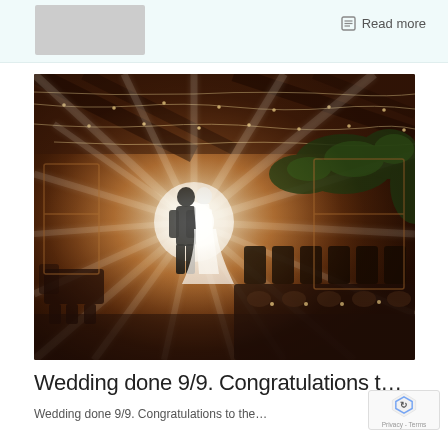[Figure (other): Gray placeholder/thumbnail box in top left of page]
Read more
[Figure (photo): Wedding photograph of bride and groom silhouetted against dramatic light rays in a decorated tent venue with string lights, greenery, and elegant table settings]
Wedding done 9/9. Congratulations t…
Wedding done 9/9. Congratulations to the…